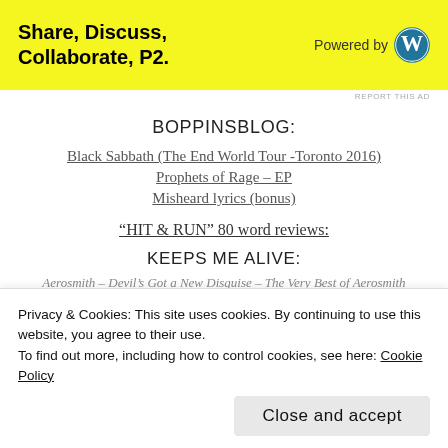[Figure (other): Yellow advertisement banner: 'Share, Discuss, Collaborate, P2.' with WordPress logo and 'Powered by' text]
REPORT THIS AD
BOPPINSBLOG:
Black Sabbath (The End World Tour -Toronto 2016)
Prophets of Rage – EP
Misheard lyrics (bonus)
“HIT & RUN” 80 word reviews:
KEEPS ME ALIVE:
Aerosmith – Devil’s Got a New Disguise – The Very Best of Aerosmith
Privacy & Cookies: This site uses cookies. By continuing to use this website, you agree to their use.
To find out more, including how to control cookies, see here: Cookie Policy
Close and accept
Willie Nelson – Countryman